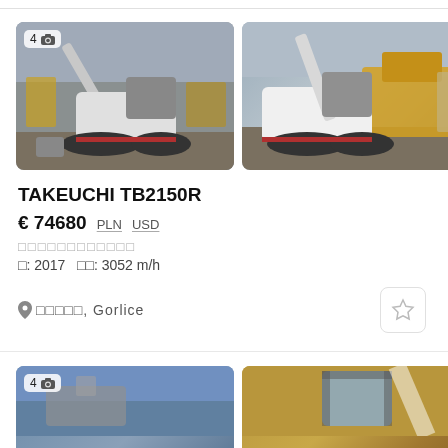[Figure (photo): Takeuchi TB2150R excavator on a construction yard, left side view, with badge showing 4 photos]
[Figure (photo): Takeuchi TB2150R excavator, front-right angle, with yellow dump truck in background]
TAKEUCHI TB2150R
€ 74680  PLN  USD
□□□□□□□□□□□□
□: 2017  □□: 3052 m/h
□□□□□, Gorlice
[Figure (photo): Second listing: construction machine, left photo]
[Figure (photo): Second listing: construction machine cab, right photo]